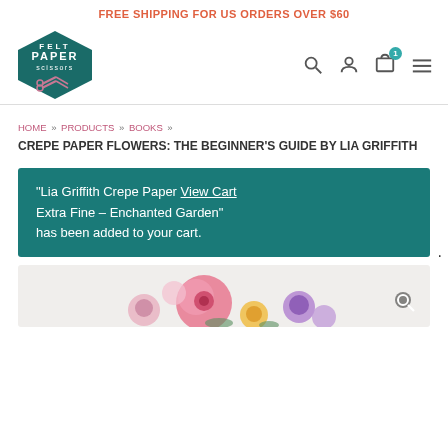FREE SHIPPING FOR US ORDERS OVER $60
[Figure (logo): Felt Paper Scissors hexagon logo with scissors graphic in teal/dark green]
HOME » PRODUCTS » BOOKS » CREPE PAPER FLOWERS: THE BEGINNER'S GUIDE BY LIA GRIFFITH
"Lia Griffith Crepe Paper View Cart Extra Fine – Enchanted Garden" has been added to your cart.
[Figure (photo): Colorful crepe paper flowers in pink, yellow and purple tones with a magnifying glass icon overlay]